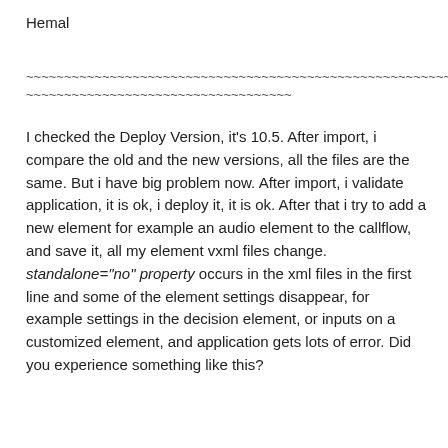Hemal
~~~~~~~~~~~~~~~~~~~~~~~~~~~~~~~~~~~~~~~~~~~~~~~~~~~~~~~~~~~~~~~~~~~~~~~~~~~~~~~~~~~~~~~~~~~~~~~~~~~~~~~~~~~~~~~~~~~~~~~~~~~~~~~~~~~~~~~~~~~~~~~~
I checked the Deploy Version, it's 10.5. After import, i compare the old and the new versions, all the files are the same. But i have big problem now. After import, i validate application, it is ok, i deploy it, it is ok. After that i try to add a new element for example an audio element to the callflow, and save it, all my element vxml files change. standalone="no" property occurs in the xml files in the first line and some of the element settings disappear, for example settings in the decision element, or inputs on a customized element, and application gets lots of error. Did you experience something like this?